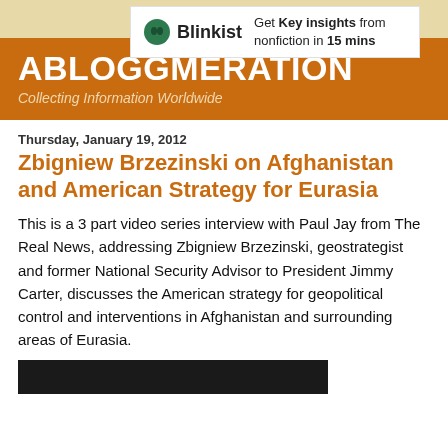[Figure (logo): Blinkist advertisement banner with logo and text: Get Key insights from nonfiction in 15 mins]
ABLOGGMERATION
Collecting Information Worldwide
Thursday, January 19, 2012
Zbigniew Brzezinski on Afghanistan and American Strategy for Eurasia
This is a 3 part video series interview with Paul Jay from The Real News, addressing Zbigniew Brzezinski, geostrategist and former National Security Advisor to President Jimmy Carter, discusses the American strategy for geopolitical control and interventions in Afghanistan and surrounding areas of Eurasia.
[Figure (screenshot): Dark/black image area at the bottom of the page (video thumbnail)]